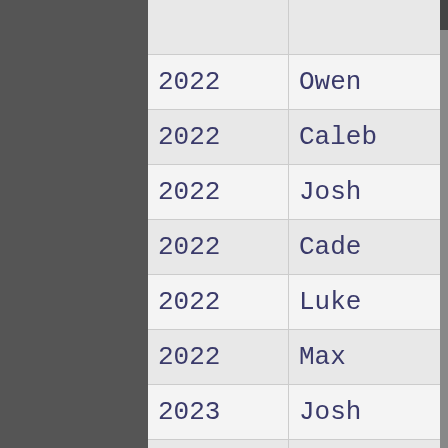| Year | First Name | Last Name |
| --- | --- | --- |
| 2022 | Owen | Giesen |
| 2022 | Caleb | Myung |
| 2022 | Josh | Wallace |
| 2022 | Cade | McGraw |
| 2022 | Luke | Hansen |
| 2022 | Max | Skilbeck |
| 2023 | Josh | Och |
| 2023 | Easton | Breyfogle |
| 2023 | Drew | Charney |
| 2023 | Michael | Miller |
| 2023 | Parker | Lewin |
| 2023 | Jack | Taxdahl |